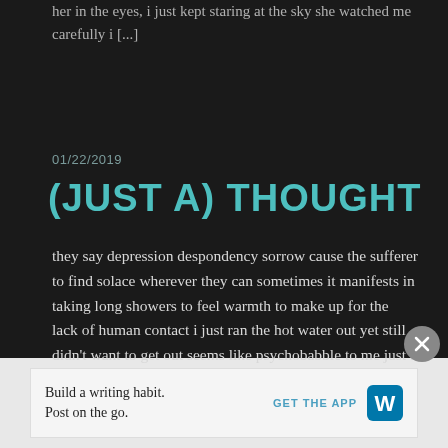her in the eyes, i just kept staring at the sky she watched me carefully i [...]
01/22/2019
(JUST A) THOUGHT
they say depression despondency sorrow cause the sufferer to find solace wherever they can sometimes it manifests in taking long showers to feel warmth to make up for the lack of human contact i just ran the hot water out yet still didn't want to get out seems like psychobabble to me just a thought
Build a writing habit. Post on the go. GET THE APP